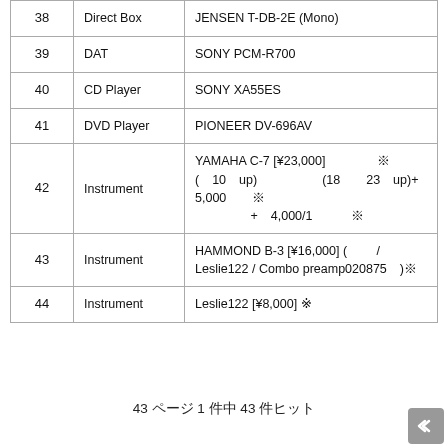| # | Category | Description |
| --- | --- | --- |
| 38 | Direct Box | JENSEN T-DB-2E (Mono) |
| 39 | DAT | SONY PCM-R700 |
| 40 | CD Player | SONY XA55ES |
| 41 | DVD Player | PIONEER DV-696AV |
| 42 | Instrument | YAMAHA C-7 [¥23,000]　　　　※　　　　(　10　up)　　　　　(18　　23　up)+　5,000　※　　　　 +　4,000/1　　※　　　　　　　　　 |
| 43 | Instrument | HAMMOND B-3 [¥16,000] (　　/ Leslie122 / Combo preamp020875　)※　　　　　　　　　 |
| 44 | Instrument | Leslie122 [¥8,000] ※　　　　　　　　　　 |
43 ページ 1 件中 43 件ヒット